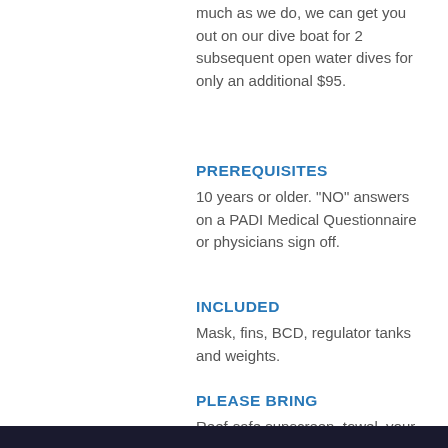much as we do, we can get you out on our dive boat for 2 subsequent open water dives for only an additional $95.
PREREQUISITES
10 years or older. "NO" answers on a PADI Medical Questionnaire or physicians sign off.
INCLUDED
Mask, fins, BCD, regulator tanks and weights.
PLEASE BRING
Reef-safe sunscreen, towel, your own gear if desired and gratuity for your instructor.